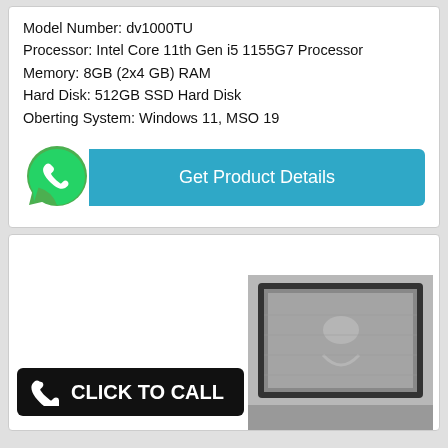Model Number: dv1000TU
Processor: Intel Core 11th Gen i5 1155G7 Processor
Memory: 8GB (2x4 GB) RAM
Hard Disk: 512GB SSD Hard Disk
Oberting System: Windows 11, MSO 19
[Figure (infographic): WhatsApp icon (green circle with white phone handset) next to a teal/blue button labeled 'Get Product Details']
[Figure (infographic): Black 'CLICK TO CALL' button with white phone icon on the left, overlapping a laptop product image (grayscale) in the lower right]